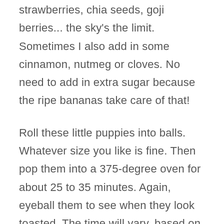strawberries, chia seeds, goji berries... the sky's the limit. Sometimes I also add in some cinnamon, nutmeg or cloves. No need to add in extra sugar because the ripe bananas take care of that!
Roll these little puppies into balls. Whatever size you like is fine. Then pop them into a 375-degree oven for about 25 to 35 minutes. Again, eyeball them to see when they look toasted. The time will vary, based on how big they are. The oven gives them the best roasted flavor, adding an extra layer of deep flavor without extra fat!